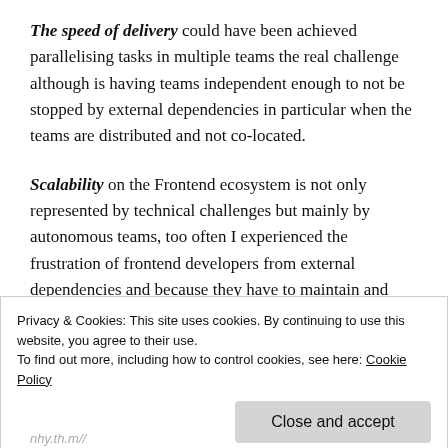The speed of delivery could have been achieved parallelising tasks in multiple teams the real challenge although is having teams independent enough to not be stopped by external dependencies in particular when the teams are distributed and not co-located.
Scalability on the Frontend ecosystem is not only represented by technical challenges but mainly by autonomous teams, too often I experienced the frustration of frontend developers from external dependencies and because they have to maintain and improve a codebase started for one purpose and
Privacy & Cookies: This site uses cookies. By continuing to use this website, you agree to their use.
To find out more, including how to control cookies, see here: Cookie Policy
Close and accept